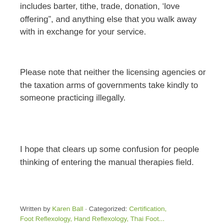includes barter, tithe, trade, donation, ‘love offering”, and anything else that you walk away with in exchange for your service.
Please note that neither the licensing agencies or the taxation arms of governments take kindly to someone practicing illegally.
I hope that clears up some confusion for people thinking of entering the manual therapies field.
Written by Karen Ball · Categorized: Certification, Foot Reflexology, Hand Reflexology, Thai Foot...